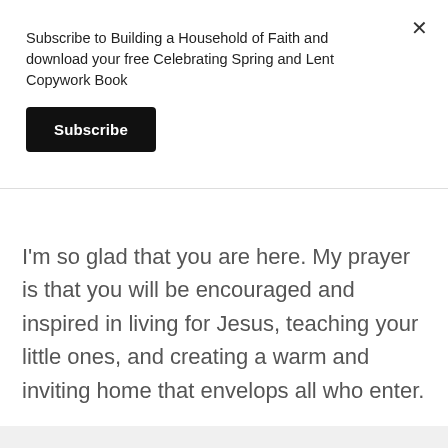Subscribe to Building a Household of Faith and download your free Celebrating Spring and Lent Copywork Book
Subscribe
I'm so glad that you are here. My prayer is that you will be encouraged and inspired in living for Jesus, teaching your little ones, and creating a warm and inviting home that envelops all who enter.